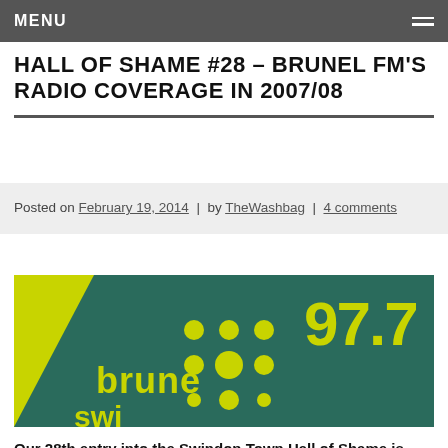MENU
HALL OF SHAME #28 – BRUNEL FM'S RADIO COVERAGE IN 2007/08
Posted on February 19, 2014 | by TheWashbag | 4 comments
[Figure (photo): Close-up photo of a Brunel FM 97.7 logo/badge on a yellow-green background with teal diamond shape]
Our 28th entry into the Swindon Town Hall of Shame is Brunel FM – the radio station where the listener couldn't hear the commentary, writes Ron